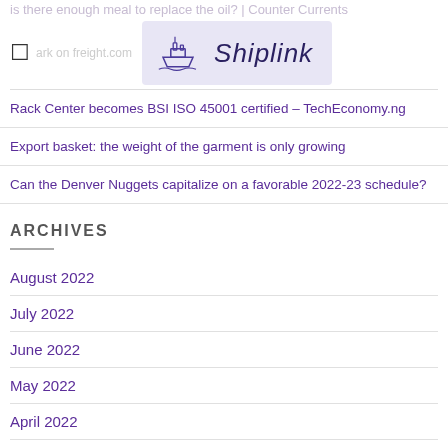is there enough meal to replace the oil? | Counter Currents
[Figure (logo): Shiplink logo with ship icon on purple/lavender background]
Rack Center becomes BSI ISO 45001 certified – TechEconomy.ng
Export basket: the weight of the garment is only growing
Can the Denver Nuggets capitalize on a favorable 2022-23 schedule?
ARCHIVES
August 2022
July 2022
June 2022
May 2022
April 2022